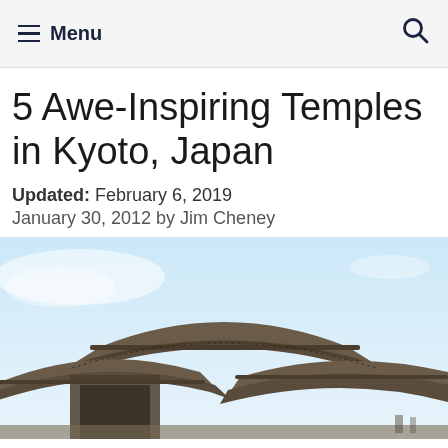≡ Menu [search icon]
5 Awe-Inspiring Temples in Kyoto, Japan
Updated: February 6, 2019
January 30, 2012 by Jim Cheney
[Figure (photo): Photograph of traditional Japanese temple rooftops with sweeping curved eaves against a light blue sky, Kyoto, Japan]